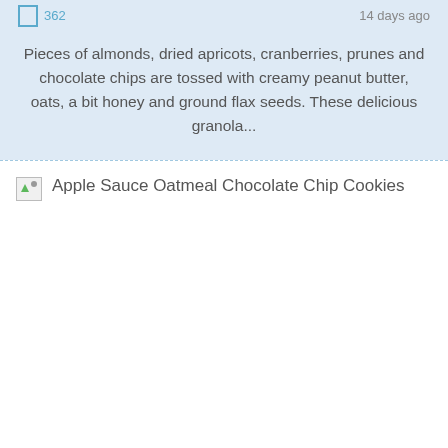362  14 days ago
Pieces of almonds, dried apricots, cranberries, prunes and chocolate chips are tossed with creamy peanut butter, oats, a bit honey and ground flax seeds. These delicious granola...
[Figure (other): Broken image placeholder for Apple Sauce Oatmeal Chocolate Chip Cookies recipe image]
Apple Sauce Oatmeal Chocolate Chip Cookies